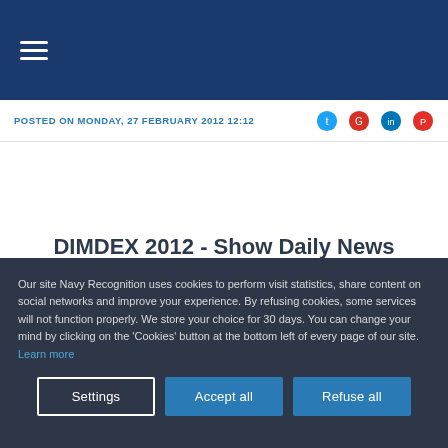Navigation bar with hamburger menu
POSTED ON MONDAY, 27 FEBRUARY 2012 12:12
DIMDEX 2012 - Show Daily News
Our site Navy Recognition uses cookies to perform visit statistics, share content on social networks and improve your experience. By refusing cookies, some services will not function properly. We store your choice for 30 days. You can change your mind by clicking on the 'Cookies' button at the bottom left of every page of our site. Learn more